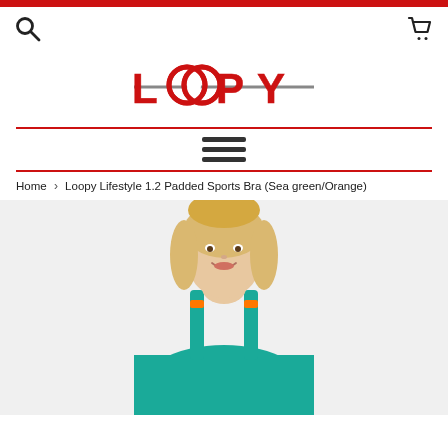Red top bar
[Figure (logo): LOOPY brand logo in red with strikethrough styling and interlocking O rings]
Home › Loopy Lifestyle 1.2 Padded Sports Bra (Sea green/Orange)
[Figure (photo): Blonde woman smiling, wearing a teal/sea green padded sports bra with orange accents]